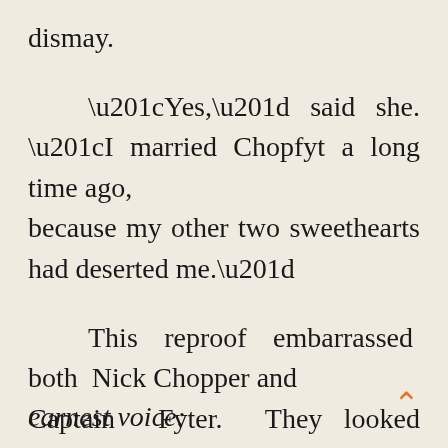dismay.
“Yes,” said she. “I married Chopfyt a long time ago, because my other two sweethearts had deserted me.”
This reproof embarrassed both Nick Chopper and Captain Fyter. They looked down, shamefaced, for a moment, and then the Tin Woodman explained in an
earnest voice: